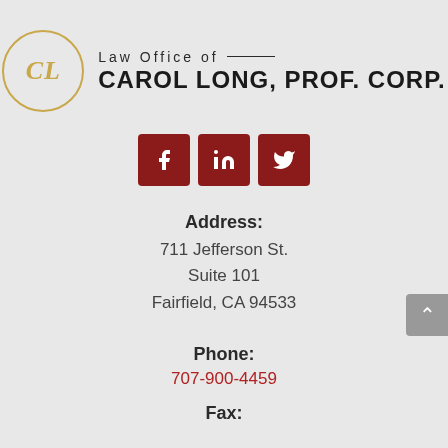[Figure (logo): Law Office of Carol Long, Prof. Corp. logo — circular CL monogram in gold with firm name]
[Figure (infographic): Three dark red social media icon buttons: Facebook (f), LinkedIn (in), Twitter (bird)]
Address:
711 Jefferson St.
Suite 101
Fairfield, CA 94533
Phone:
707-900-4459
Fax: